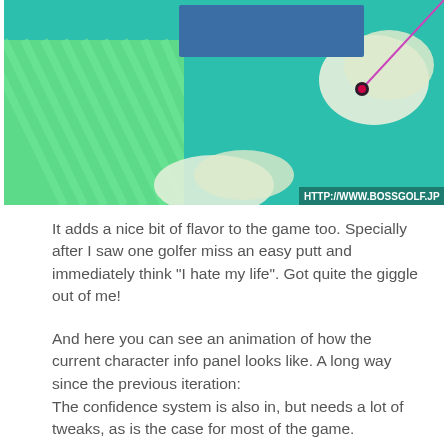[Figure (screenshot): A top-down golf game screenshot showing a green golf course with teal/turquoise fairways, striped green areas, white bunkers/sand areas, a blue rectangle (UI element) in the upper center, a pink/magenta line indicating ball trajectory, and a small dark marker. Bottom right shows watermark text HTTP://WWW.BOSSGOLF.JP]
It adds a nice bit of flavor to the game too. Specially after I saw one golfer miss an easy putt and immediately think "I hate my life". Got quite the giggle out of me!
And here you can see an animation of how the current character info panel looks like. A long way since the previous iteration:
The confidence system is also in, but needs a lot of tweaks, as is the case for most of the game.